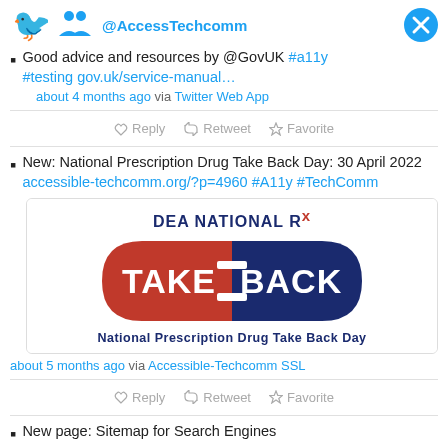@AccessTechcomm
Good advice and resources by @GovUK #a11y #testing gov.uk/service-manual… about 4 months ago via Twitter Web App
New: National Prescription Drug Take Back Day: 30 April 2022 accessible-techcomm.org/?p=4960 #A11y #TechComm
[Figure (logo): DEA National Rx Take Back Day pill-shaped logo with red and blue halves and caption 'National Prescription Drug Take Back Day']
about 5 months ago via Accessible-Techcomm SSL
New page: Sitemap for Search Engines